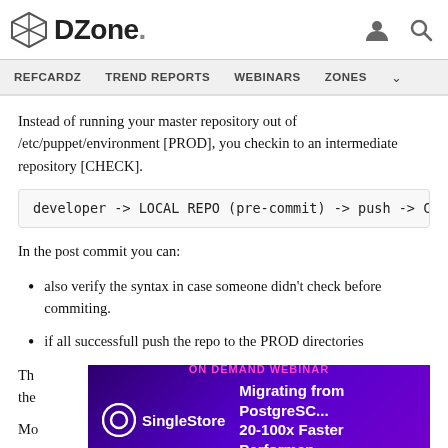DZone. REFCARDZ  TREND REPORTS  WEBINARS  ZONES
Instead of running your master repository out of /etc/puppet/environment [PROD], you checkin to an intermediate repository [CHECK].
developer -> LOCAL REPO (pre-commit) -> push -> CHEC
In the post commit you can:
also verify the syntax in case someone didn't check before commiting.
if all successfull push the repo to the PROD directories
Th... the...
Mo...
[Figure (other): SingleStore advertisement banner: ON DEMAND WEBINAR - Migrating from PostgreSC... 20-100x Faster Performan...]